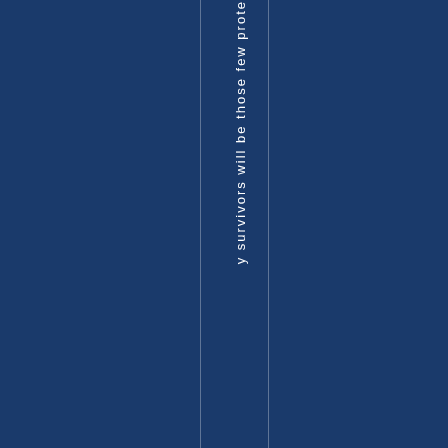y survivors will be those few prote